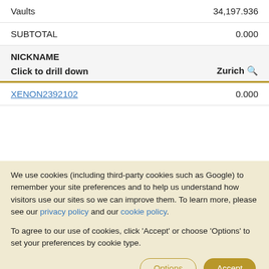|  |  |
| --- | --- |
| Vaults | 34,197.936 |
| SUBTOTAL | 0.000 |
| NICKNAME
Click to drill down | Zurich |
| --- | --- |
| XENON2392102 | 0.000 |
We use cookies (including third-party cookies such as Google) to remember your site preferences and to help us understand how visitors use our sites so we can improve them. To learn more, please see our privacy policy and our cookie policy.
To agree to our use of cookies, click 'Accept' or choose 'Options' to set your preferences by cookie type.